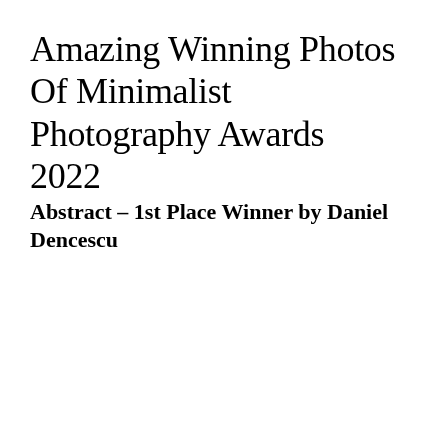Amazing Winning Photos Of Minimalist Photography Awards 2022
Abstract – 1st Place Winner by Daniel Dencescu